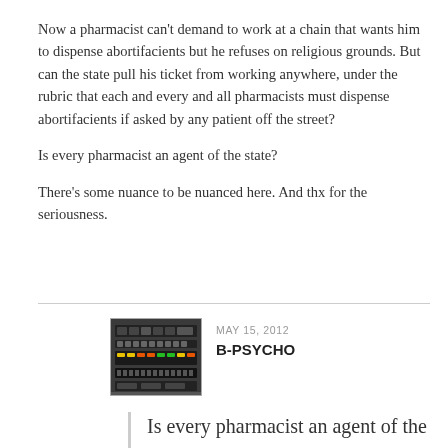Now a pharmacist can't demand to work at a chain that wants him to dispense abortifacients but he refuses on religious grounds. But can the state pull his ticket from working anywhere, under the rubric that each and every and all pharmacists must dispense abortifacients if asked by any patient off the street?
Is every pharmacist an agent of the state?
There's some nuance to be nuanced here. And thx for the seriousness.
[Figure (photo): Avatar image of a drum machine / synthesizer equipment, dark colored]
MAY 15, 2012
B-PSYCHO
Is every pharmacist an agent of the state?